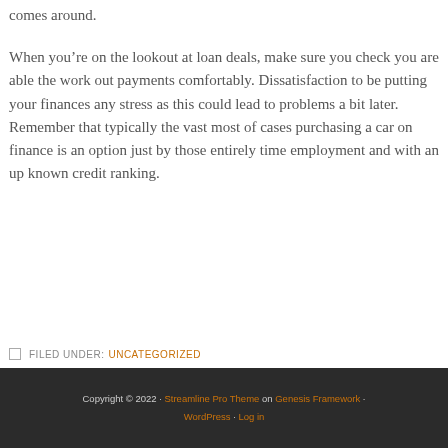comes around.
When you're on the lookout at loan deals, make sure you check you are able the work out payments comfortably. Dissatisfaction to be putting your finances any stress as this could lead to problems a bit later. Remember that typically the vast most of cases purchasing a car on finance is an option just by those entirely time employment and with an up known credit ranking.
FILED UNDER: UNCATEGORIZED
Copyright © 2022 · Streamline Pro Theme on Genesis Framework · WordPress · Log in